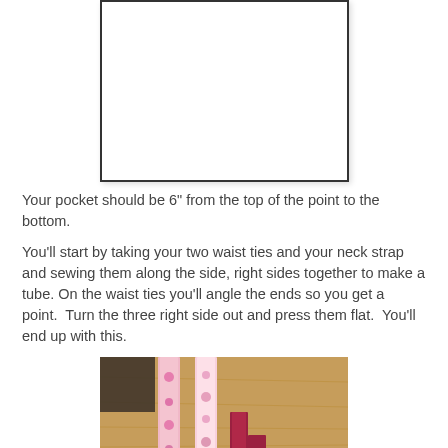[Figure (illustration): A white rectangle with dark border representing a pocket pattern piece shape]
Your pocket should be 6" from the top of the point to the bottom.
You'll start by taking your two waist ties and your neck strap and sewing them along the side, right sides together to make a tube. On the waist ties you'll angle the ends so you get a point.  Turn the three right side out and press them flat.  You'll end up with this.
[Figure (photo): Photo of fabric strips (waist ties and neck strap) laid out on a wooden table surface, showing pink and white patterned fabric strips]